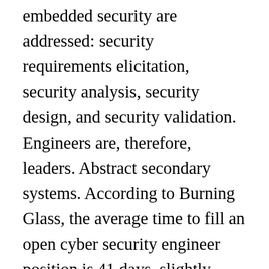embedded security are addressed: security requirements elicitation, security analysis, security design, and security validation. Engineers are, therefore, leaders. Abstract secondary systems. According to Burning Glass, the average time to fill an open cyber security engineer position is 41 days, slightly higher than a “generalized” software developer/engineer position (39 days). Information technology specialists have myriad career paths to consider, many of which are seeing strong job growth today. The market for cybersecurity jobs, for example, is expected to increase more than 200% by 2020.Yet, even within the field of cybersecurity, specialists can choose from more than one path to